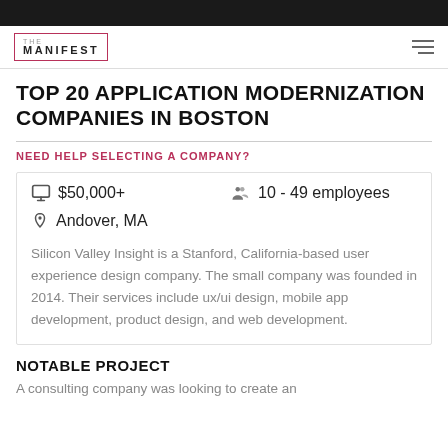THE MANIFEST
TOP 20 APPLICATION MODERNIZATION COMPANIES IN BOSTON
NEED HELP SELECTING A COMPANY?
$50,000+   10 - 49 employees
Andover, MA
Silicon Valley Insight is a Stanford, California-based user experience design company. The small company was founded in 2014. Their services include ux/ui design, mobile app development, product design, and web development.
NOTABLE PROJECT
A consulting company was looking to create an